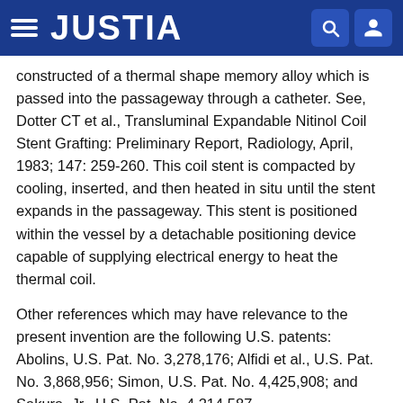JUSTIA
constructed of a thermal shape memory alloy which is passed into the passageway through a catheter. See, Dotter CT et al., Transluminal Expandable Nitinol Coil Stent Grafting: Preliminary Report, Radiology, April, 1983; 147: 259-260. This coil stent is compacted by cooling, inserted, and then heated in situ until the stent expands in the passageway. This stent is positioned within the vessel by a detachable positioning device capable of supplying electrical energy to heat the thermal coil.
Other references which may have relevance to the present invention are the following U.S. patents: Abolins, U.S. Pat. No. 3,278,176; Alfidi et al., U.S. Pat. No. 3,868,956; Simon, U.S. Pat. No. 4,425,908; and Sakura, Jr., U.S. Pat. No. 4,214,587.
Among the drawbacks of the prior art wire stents and